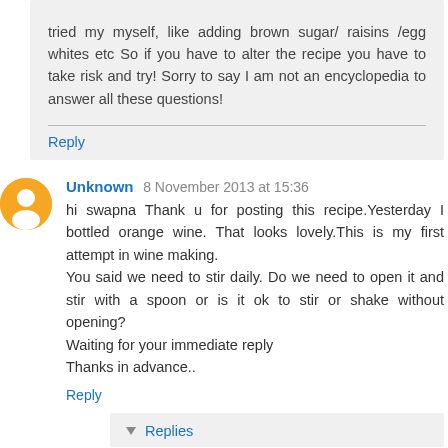tried my myself, like adding brown sugar/ raisins /egg whites etc So if you have to alter the recipe you have to take risk and try! Sorry to say I am not an encyclopedia to answer all these questions!
Reply
Unknown 8 November 2013 at 15:36
hi swapna Thank u for posting this recipe.Yesterday I bottled orange wine. That looks lovely.This is my first attempt in wine making.
You said we need to stir daily. Do we need to open it and stir with a spoon or is it ok to stir or shake without opening?
Waiting for your immediate reply
Thanks in advance..
Reply
Replies